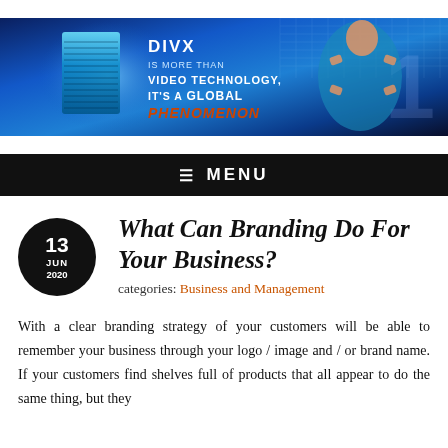[Figure (illustration): DivX promotional banner with dark blue background, text reading DIVX IS MORE THAN VIDEO TECHNOLOGY. IT'S A GLOBAL PHENOMENON, a woman framing camera gesture on the right, glowing pill/screen element on left, grid overlay and large numeral 1]
≡ MENU
What Can Branding Do For Your Business?
categories: Business and Management
With a clear branding strategy of your customers will be able to remember your business through your logo / image and / or brand name. If your customers find shelves full of products that all appear to do the same thing, but they